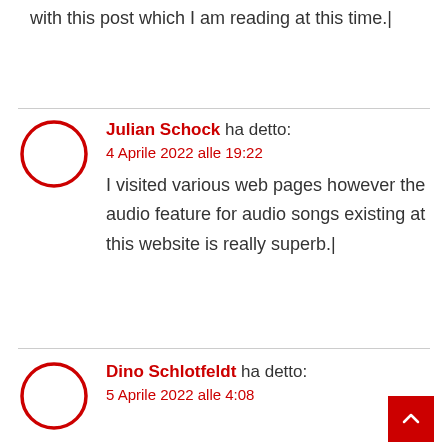with this post which I am reading at this time.|
Julian Schock ha detto:
4 Aprile 2022 alle 19:22
I visited various web pages however the audio feature for audio songs existing at this website is really superb.|
Dino Schlotfeldt ha detto:
5 Aprile 2022 alle 4:08